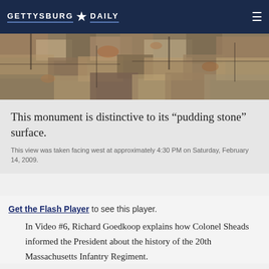GETTYSBURG ★ DAILY
[Figure (photo): Close-up photograph of a rough stone surface with a pudding stone texture — mottled tan, grey, and rust-colored pebbles embedded in a darker matrix.]
This monument is distinctive to its “pudding stone” surface.
This view was taken facing west at approximately 4:30 PM on Saturday, February 14, 2009.
Get the Flash Player to see this player.
In Video #6, Richard Goedkoop explains how Colonel Sheads informed the President about the history of the 20th Massachusetts Infantry Regiment.